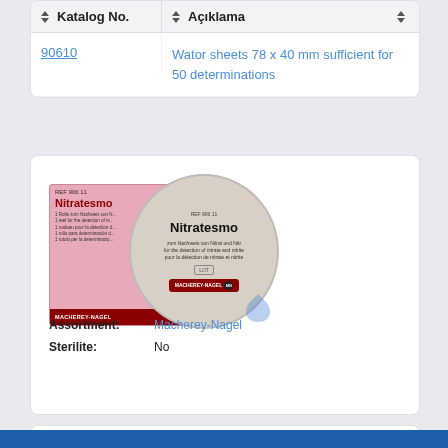| Katalog No. | Açıklama |
| --- | --- |
| 90610 | Wator sheets 78 x 40 mm sufficient for 50 determinations |
[Figure (photo): Product photo of Nitratesmo test paper by Macherey-Nagel — a pink rectangular box and a circular medallion/stamp showing the product label with text in multiple languages]
Assortment: Macherey-Nagel
Sterilite: No